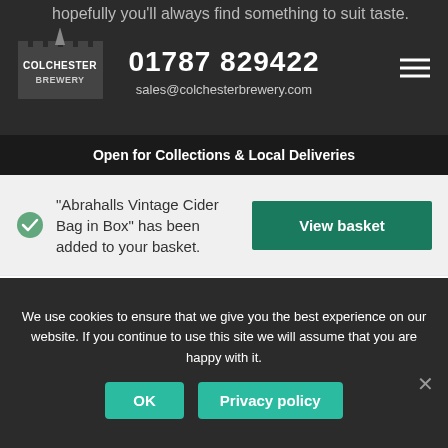hopefully you'll always find something to suit taste.
01787 829422
sales@colchesterbrewery.com
Open for Collections & Local Deliveries
"Abrahalls Vintage Cider Bag in Box" has been added to your basket.
View basket
[Figure (photo): Abrahalls AV Vintage Cider product box with red penguin-like character illustration]
[Figure (photo): Nell Gwynne Cider product box with dark green background and orange/yellow fruit illustrations]
We use cookies to ensure that we give you the best experience on our website. If you continue to use this site we will assume that you are happy with it.
OK
Privacy policy